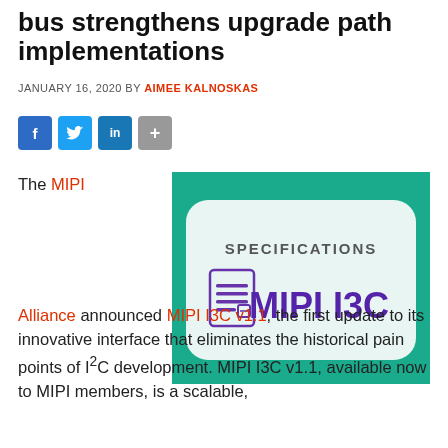bus strengthens upgrade path implementations
JANUARY 16, 2020 BY AIMEE KALNOSKAS
[Figure (screenshot): Social share buttons: Facebook (blue), Twitter (light blue), LinkedIn (blue), Share (gray)]
[Figure (photo): MIPI I3C Specifications card image on teal/green background showing a document icon and large MIPI I3C text in purple]
The MIPI Alliance announced MIPI I3C v1.1, the first update to its innovative interface that eliminates the historical pain points of I²C development. MIPI I3C v1.1, available now to MIPI members, is a scalable,